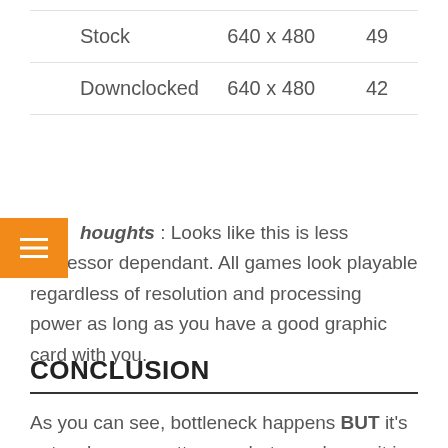| Stock | 640 x 480 | 49 |
| Downclocked | 640 x 480 | 42 |
Thoughts : Looks like this is less processor dependant. All games look playable regardless of resolution and processing power as long as you have a good graphic card with you.
CONCLUSION
As you can see, bottleneck happens BUT it's not as huge a matter as what people say it is. Sure, some games are affected by processing power but that's not always the case. Your gaming experience isn't going to be THAT badly affected by processing